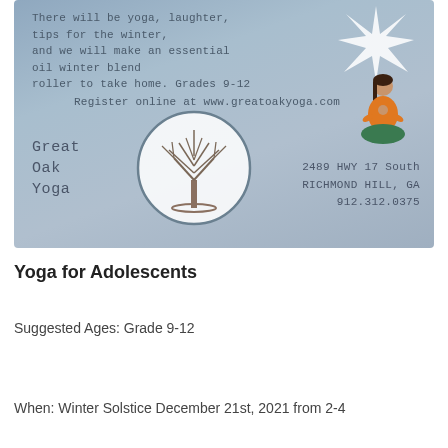[Figure (infographic): Great Oak Yoga flyer with blue-grey gradient background, showing a star graphic, a person meditating, a tree-in-circle logo, text about yoga for adolescents, registration info, and address 2489 HWY 17 South, Richmond Hill, GA 912.312.0375]
Yoga for Adolescents
Suggested Ages: Grade 9-12
When: Winter Solstice December 21st, 2021 from 2-4